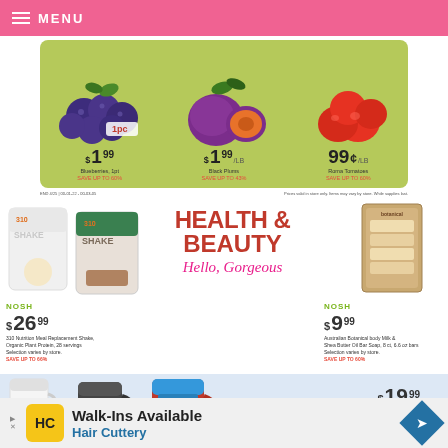MENU
[Figure (photo): Produce sale banner on green background showing blueberries, black plums, and roma tomatoes with prices]
$1 99 Blueberries, 1pt SAVE UP TO 60%
$1 99 /LB Black Plums SAVE UP TO 43%
99c /LB Roma Tomatoes SAVE UP TO 60%
Prices valid in store only. Items may vary by store. While supplies last.
[Figure (photo): 310 Nutrition Meal Replacement Shake product bags (vanilla and chocolate)]
NOSH
$26 99
310 Nutrition Meal Replacement Shake, Organic Plant Protein, 28 servings
Selection varies by store.
SAVE UP TO 66%
[Figure (illustration): Health & Beauty Hello, Gorgeous promotional graphic]
[Figure (photo): Australian Botanical body soap bar product]
NOSH
$9 99
Australian Botanical body Milk & Shea Butter Oil Bar Soap, 8 ct, 6.6 oz bars
Selection varies by store.
SAVE UP TO 60%
[Figure (photo): Brita water filter pitchers in white, black, and red with Brita branding]
$19 99
Brita MaxFlow Pitcher, 10 cup
Selection varies by store.
SAVE UP TO 60%
[Figure (other): Walk-Ins Available - Hair Cuttery advertisement banner]